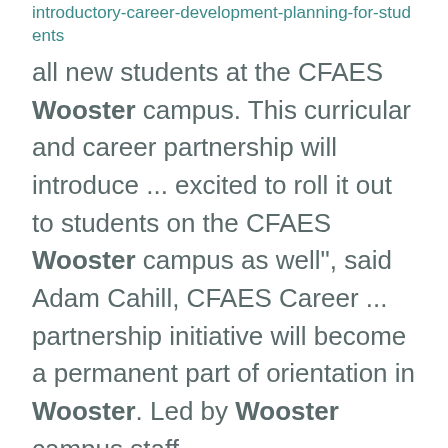introductory-career-development-planning-for-students
all new students at the CFAES Wooster campus. This curricular and career partnership will introduce ... excited to roll it out to students on the CFAES Wooster campus as well”, said Adam Cahill, CFAES Career ... partnership initiative will become a permanent part of orientation in Wooster. Led by Wooster campus staff ...
2021-2022 Pathways to Bachelor Degrees
https://ati.osu.edu/node/32590
2021-2022 pathways are applicable for